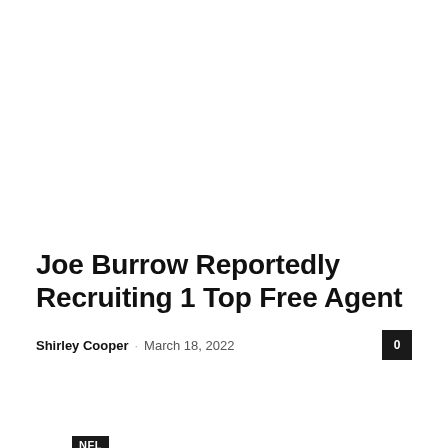NFL
Joe Burrow Reportedly Recruiting 1 Top Free Agent
Shirley Cooper · March 18, 2022